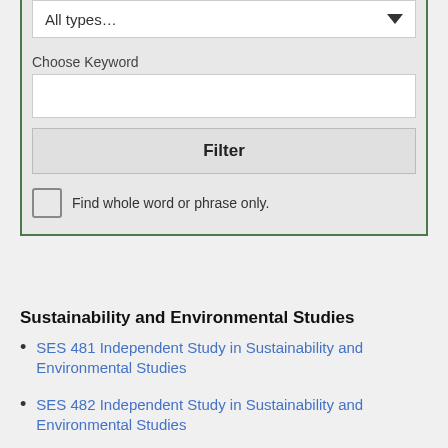[Figure (screenshot): A UI filter panel with a dropdown showing 'All types...', a 'Choose Keyword' label, a blank text input box, a bold 'Filter' button, and a checkbox labeled 'Find whole word or phrase only.']
Sustainability and Environmental Studies
SES 481 Independent Study in Sustainability and Environmental Studies
SES 482 Independent Study in Sustainability and Environmental Studies